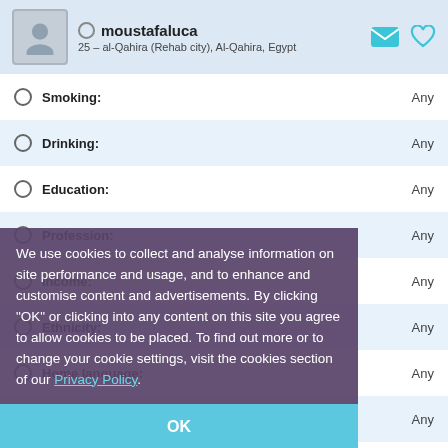moustafaluca — 25 – al-Qahira (Rehab city), Al-Qahira, Egypt
Smoking: Any
Drinking: Any
Education: Any
Profession: Any
Income: Any
Ethnicity: Any
Home language: Any
Other languages: Any
We use cookies to collect and analyse information on site performance and usage, and to enhance and customise content and advertisements. By clicking "OK" or clicking into any content on this site you agree to allow cookies to be placed. To find out more or to change your cookie settings, visit the cookies section of our Privacy Policy.